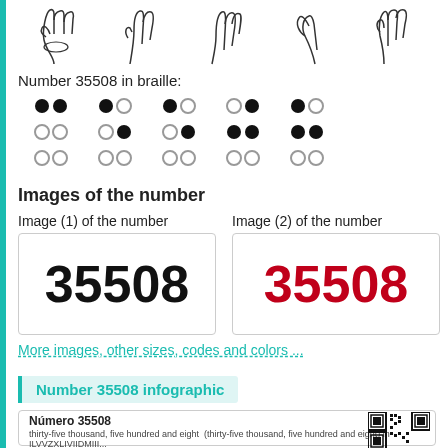[Figure (illustration): Five hand sign illustrations showing sign language gestures for digits of 35508]
Number 35508 in braille:
[Figure (other): Braille dot pattern for number 35508, shown as a grid of filled and empty circles in 5 characters]
Images of the number
Image (1) of the number
Image (2) of the number
[Figure (other): Number 35508 displayed in large bold black font inside a bordered box]
[Figure (other): Number 35508 displayed in large bold red font inside a bordered box]
More images, other sizes, codes and colors ...
Number 35508 infographic
Número 35508
thirty-five thousand, five hundred and eight  (thirty-five thousand, five hundred and eight) in ILVVZXLIVIIDMII...